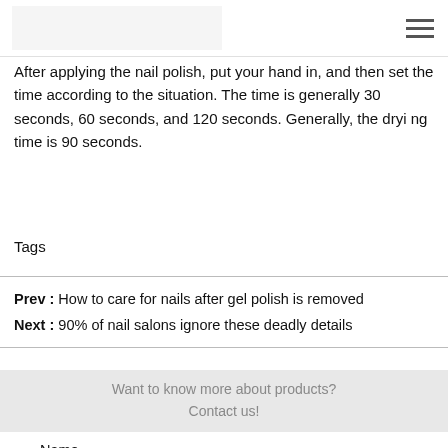[logo] [hamburger menu]
After applying the nail polish, put your hand in, and then set the time according to the situation. The time is generally 30 seconds, 60 seconds, and 120 seconds. Generally, the drying time is 90 seconds.
Tags▸
Prev : How to care for nails after gel polish is removed
Next : 90% of nail salons ignore these deadly details
Want to know more about products?
Contact us!
Name
Your name